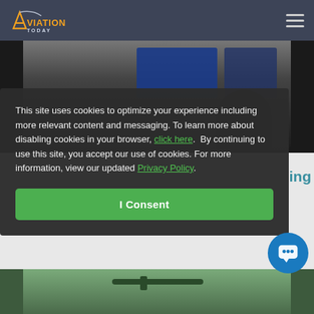Aviation Today
[Figure (screenshot): Aviation Today website header with logo and hamburger menu on dark blue-gray background, with cockpit/avionics photo below]
This site uses cookies to optimize your experience including more relevant content and messaging. To learn more about disabling cookies in your browser, click here. By continuing to use this site, you accept our use of cookies. For more information, view our updated Privacy Policy.
[Figure (other): Green I Consent button at bottom of cookie consent overlay]
[Figure (other): Blue circular chat/support button in bottom right corner]
[Figure (photo): Partial outdoor photo strip at bottom of page, showing green vegetation]